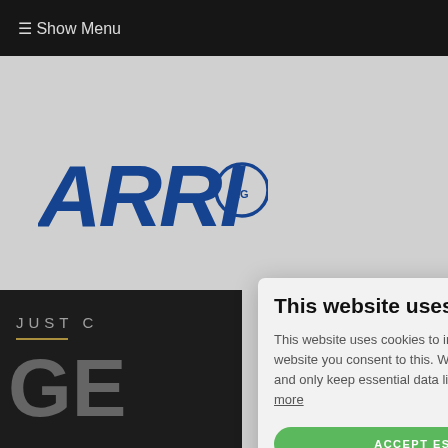☰ Show Menu
[Figure (logo): ARRI logo with blue italic bold letters and circular emblem]
[Figure (illustration): Dark banner with text 'JUST G...' and 'GE...' in grey/silver with gold underline]
This website uses cookies
This website uses cookies to improve user experience. By using our website you consent to this. We do not use any third party tracking and only keep essential data like screen size, language, OS etc Read more
ACCEPT ESSENTIAL COOKIES
DECLINE ALL COOKIE